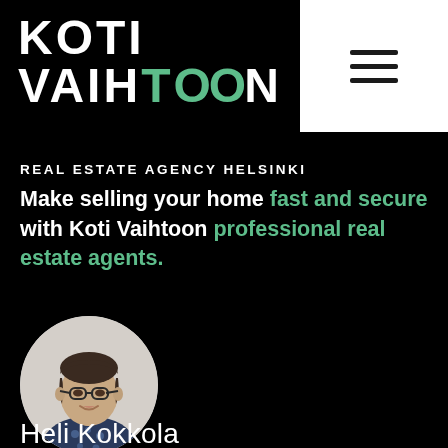[Figure (logo): Koti Vaihtoon logo in white bold text with green circles in the two O letters]
[Figure (other): White navigation panel with three horizontal black hamburger menu lines in top-right corner]
REAL ESTATE AGENCY HELSINKI
Make selling your home fast and secure with Koti Vaihtoon professional real estate agents.
[Figure (photo): Circular cropped portrait photo of a middle-aged woman with short dark hair and glasses, wearing a dark blue patterned blouse, smiling]
Heli Kokkola